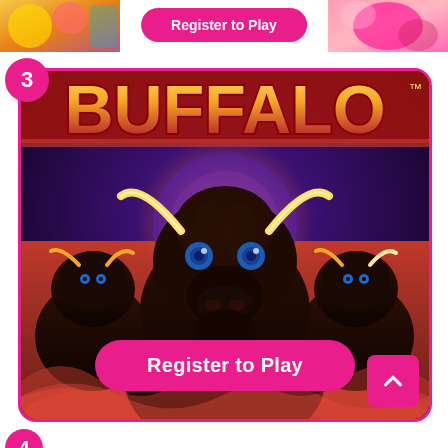[Figure (screenshot): Top partial strip showing partial game thumbnails on left and right sides with a pink 'Register to Play' button in the center]
3
[Figure (photo): Buffalo slot machine game image showing three buffalo against a dramatic red and purple background with gold 'BUFFALO' text logo at the top]
Register to Play
[Figure (other): Pink scroll-up chevron button in bottom right corner]
[Figure (other): Partial pink number badge at bottom left, number 4]